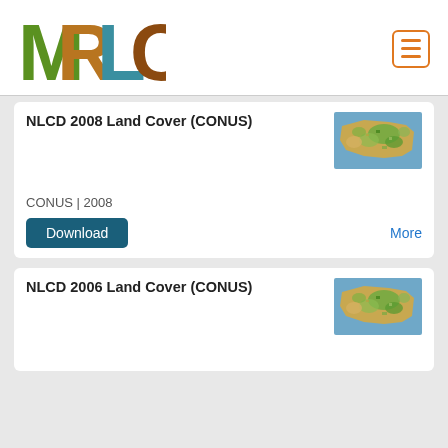[Figure (logo): MRLC logo with colorful nature-texture letters M R L C]
NLCD 2008 Land Cover (CONUS)
[Figure (map): NLCD 2008 land cover map of the contiguous United States (CONUS) showing vegetation and land use in multi-color]
CONUS | 2008
Download
More
NLCD 2006 Land Cover (CONUS)
[Figure (map): NLCD 2006 land cover map of the contiguous United States (CONUS) showing vegetation and land use in multi-color]